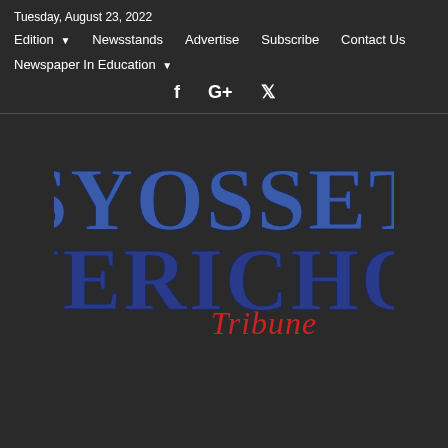Tuesday, August 23, 2022
Edition | Newsstands | Advertise | Subscribe | Contact Us | Newspaper In Education
[Figure (logo): Syosset Jericho Tribune newspaper logo with large blue serif letters SYOSSET above JERICHO and a red italic script Tribune underneath]
SYOSSET JERICHO Tribune